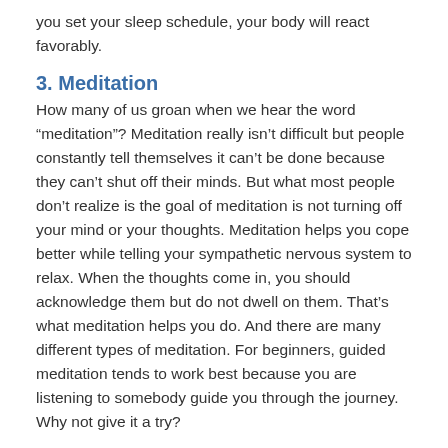you set your sleep schedule, your body will react favorably.
3. Meditation
How many of us groan when we hear the word “meditation”? Meditation really isn’t difficult but people constantly tell themselves it can’t be done because they can’t shut off their minds. But what most people don’t realize is the goal of meditation is not turning off your mind or your thoughts. Meditation helps you cope better while telling your sympathetic nervous system to relax. When the thoughts come in, you should acknowledge them but do not dwell on them. That’s what meditation helps you do. And there are many different types of meditation. For beginners, guided meditation tends to work best because you are listening to somebody guide you through the journey. Why not give it a try?
4.  Bedtime Yoga